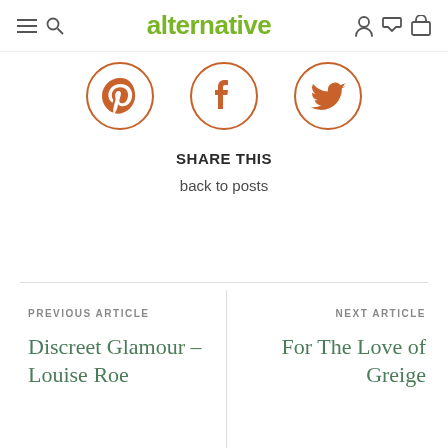alternative
[Figure (illustration): Three circular social media icons in orange outline style: Pinterest, Facebook, Twitter]
SHARE THIS
back to posts
PREVIOUS ARTICLE
Discreet Glamour – Louise Roe
NEXT ARTICLE
For The Love of Greige